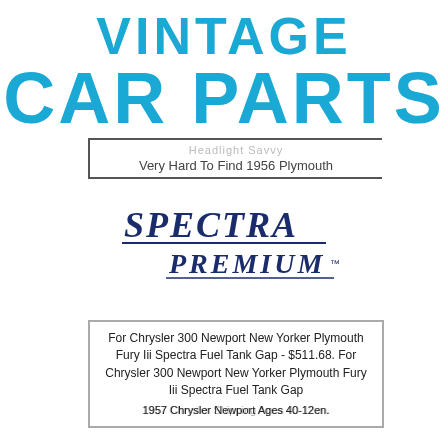VINTAGE CAR PARTS
Very Hard To Find 1956 Plymouth
[Figure (logo): Spectra Premium logo in dark blue italic serif font with underline]
For Chrysler 300 Newport New Yorker Plymouth Fury Iii Spectra Fuel Tank Gap - $511.68. For Chrysler 300 Newport New Yorker Plymouth Fury Iii Spectra Fuel Tank Gap 1957 Chrysler Newport Ages 40-12en.